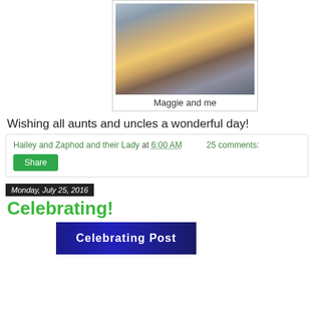[Figure (photo): Photo of a baby/toddler in a floral hat and an adult woman with sunglasses, both peeking through a wooden playhouse window]
Maggie and me
Wishing all aunts and uncles a wonderful day!
Hailey and Zaphod and their Lady at 6:00 AM    25 comments:
Share
Monday, July 25, 2016
Celebrating!
[Figure (photo): Banner image with text 'Celebrating Post' on a dark blue background]